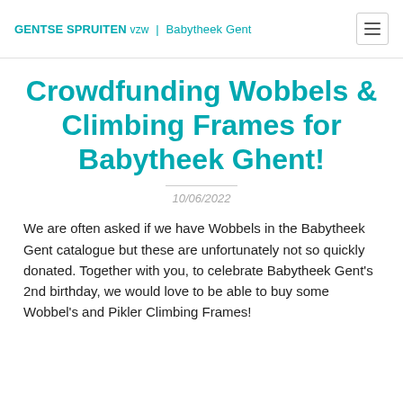GENTSE SPRUITEN vzw | Babytheek Gent
Crowdfunding Wobbels & Climbing Frames for Babytheek Ghent!
10/06/2022
We are often asked if we have Wobbels in the Babytheek Gent catalogue but these are unfortunately not so quickly donated. Together with you, to celebrate Babytheek Gent's 2nd birthday, we would love to be able to buy some Wobbel's and Pikler Climbing Frames!